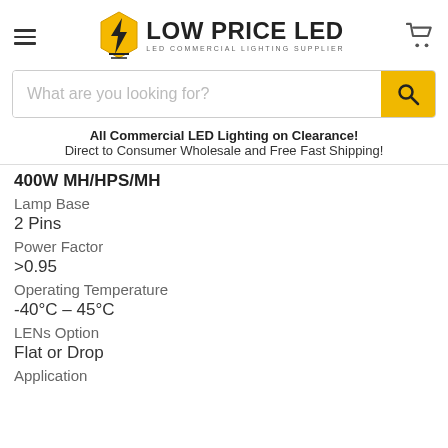[Figure (logo): Low Price LED logo with hexagon lightning bolt icon, text 'LOW PRICE LED' and subtitle 'LED COMMERCIAL LIGHTING SUPPLIER']
What are you looking for?
All Commercial LED Lighting on Clearance!
Direct to Consumer Wholesale and Free Fast Shipping!
400W MH/HPS/MH
Lamp Base
2 Pins
Power Factor
>0.95
Operating Temperature
-40°C – 45°C
LENs Option
Flat or Drop
Application